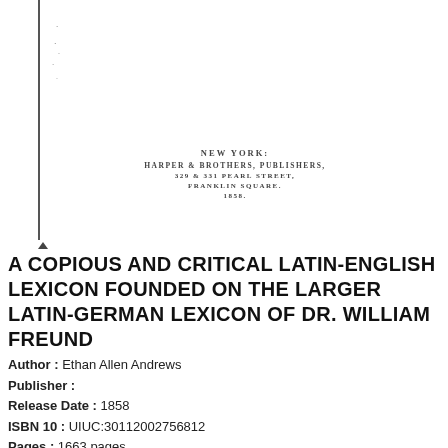[Figure (photo): Scanned page from an old book showing publisher information: NEW YORK: HARPER & BROTHERS, PUBLISHERS, 329 & 331 PEARL STREET, FRANKLIN SQUARE, 1858.]
A COPIOUS AND CRITICAL LATIN-ENGLISH LEXICON FOUNDED ON THE LARGER LATIN-GERMAN LEXICON OF DR. WILLIAM FREUND
Author : Ethan Allen Andrews
Publisher :
Release Date : 1858
ISBN 10 : UIUC:30112002756812
Pages : 1663 pages
File Format : PDF, EPUB, TEXT, KINDLE or MOBI